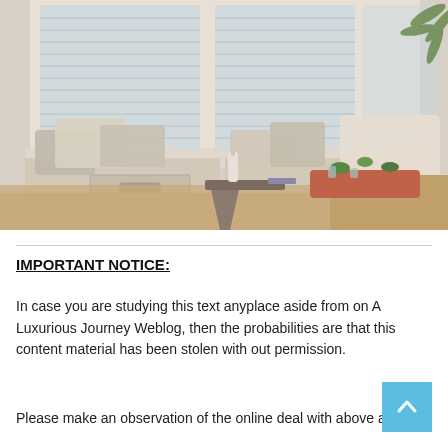[Figure (photo): Interior living room photo showing a window seat with decorative pillows, plantation shutters, a pedestal side table, and an ottoman with a terracotta serving tray holding plants and glasses.]
IMPORTANT NOTICE:
In case you are studying this text anyplace aside from on A Luxurious Journey Weblog, then the probabilities are that this content material has been stolen with out permission.
Please make an observation of the online deal with above and